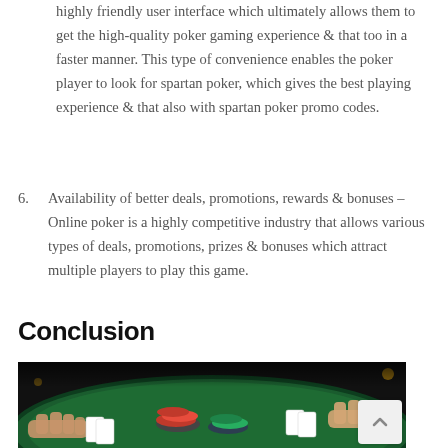highly friendly user interface which ultimately allows them to get the high-quality poker gaming experience & that too in a faster manner. This type of convenience enables the poker player to look for spartan poker, which gives the best playing experience & that also with spartan poker promo codes.
6. Availability of better deals, promotions, rewards & bonuses – Online poker is a highly competitive industry that allows various types of deals, promotions, prizes & bonuses which attract multiple players to play this game.
Conclusion
[Figure (photo): A dark photograph of a poker table with players' hands visible, poker chips, and playing cards on a green felt surface.]